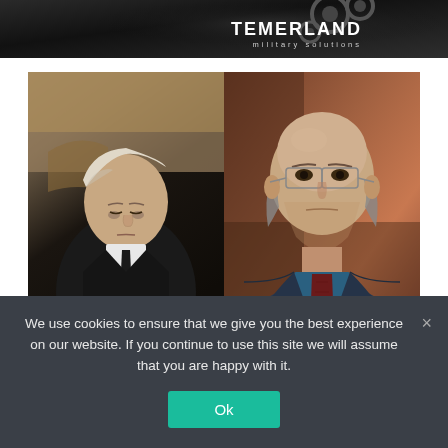[Figure (photo): Temerland military solutions banner with dark background showing mechanical gears and the brand name TEMERLAND with tagline 'military solutions']
[Figure (photo): Two side-by-side photos: left shows a man in dark suit seated at a desk looking down at documents, right shows a bald man with glasses wearing a dark jacket and red tie against a brown background]
We use cookies to ensure that we give you the best experience on our website. If you continue to use this site we will assume that you are happy with it.
Ok